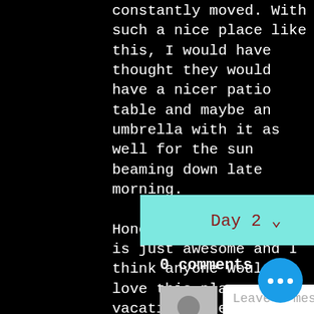constantly moved. With such a nice place like this, I would have thought they would have a nicer patio table and maybe an umbrella with it as well for the sun beaming down late morning.

Honestly, this place is just awesome and I think anyone would love this place as a vacation home and we would definitely rent this place again in the future when we return to Cozumel.
Day 2 ∨
0 comments
[Figure (illustration): Grey avatar silhouette placeholder icon]
Leave a message...
[Figure (illustration): Blue floating action button with three dots]